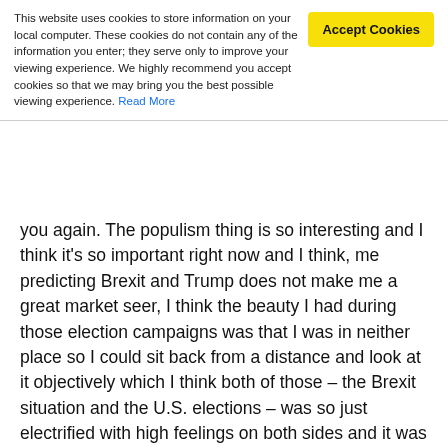This website uses cookies to store information on your local computer. These cookies do not contain any of the information you enter; they serve only to improve your viewing experience. We highly recommend you accept cookies so that we may bring you the best possible viewing experience. Read More
Accept Cookies
you again. The populism thing is so interesting and I think it's so important right now and I think, me predicting Brexit and Trump does not make me a great market seer, I think the beauty I had during those election campaigns was that I was in neither place so I could sit back from a distance and look at it objectively which I think both of those – the Brexit situation and the U.S. elections – was so just electrified with high feelings on both sides and it was really difficult if you were in the middle of that to be able to be objective about it.
I think with the Brexit, the Brits have always had a kind of tenuous relationship with Europe. We were never really in the EU, you could just sense that when push came to shove a lot more people were going to vote leave than perhaps admitted it and I think once we saw what happened in the U.K. from traveling around the U.S. a lot, which I've done in the last couple of years, it became really obvious